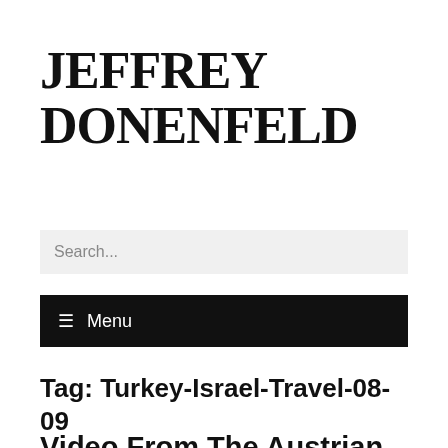JEFFREY DONENFELD
Search...
☰ Menu
Tag: Turkey-Israel-Travel-08-09
Video From The Austrian